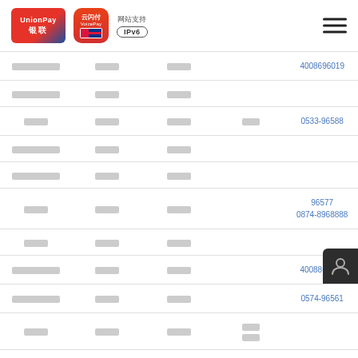[Figure (logo): UnionPay logo (red and blue), VoicePay app icon (red rounded square), IPv6 website support badge]
| ████████ | ████ | ████ |  | 4008696019 |
| ████████ | ████ | ████ |  |  |
| ████ | ████ | ████ | ████ | 0533-96588 |
| ████████ | ████ | ████ |  |  |
| ████████ | ████ | ████ |  |  |
| ████ | ████ | ████ |  | 96577
0874-8968888 |
| ████ | ████ | ████ |  |  |
| ████████ | ████ | ████ |  | 4008865200... |
| ████████ | ████ | ████ |  | 0574-96561... |
| ████ | ████ | ████ | ████
████ |  |
| ████████ | ████ | ████ |  | 0398-96558 |